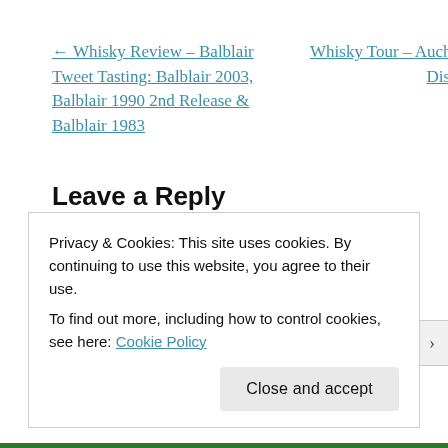← Whisky Review – Balblair Tweet Tasting: Balblair 2003, Balblair 1990 2nd Release & Balblair 1983
Whisky Tour – Auchentoshan Distillery →
Leave a Reply
Your email address will not be published. Required fields are marked *
Privacy & Cookies: This site uses cookies. By continuing to use this website, you agree to their use.
To find out more, including how to control cookies, see here: Cookie Policy
Close and accept